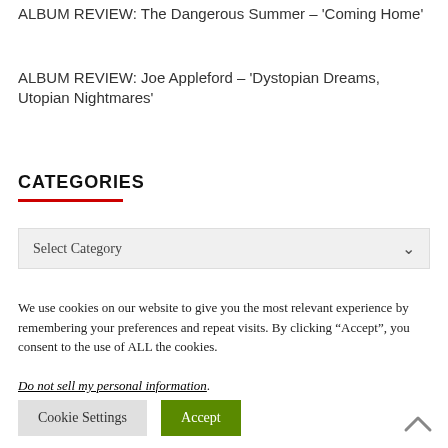ALBUM REVIEW: The Dangerous Summer – 'Coming Home'
ALBUM REVIEW: Joe Appleford – 'Dystopian Dreams, Utopian Nightmares'
CATEGORIES
Select Category
We use cookies on our website to give you the most relevant experience by remembering your preferences and repeat visits. By clicking “Accept”, you consent to the use of ALL the cookies.
Do not sell my personal information.
Cookie Settings   Accept